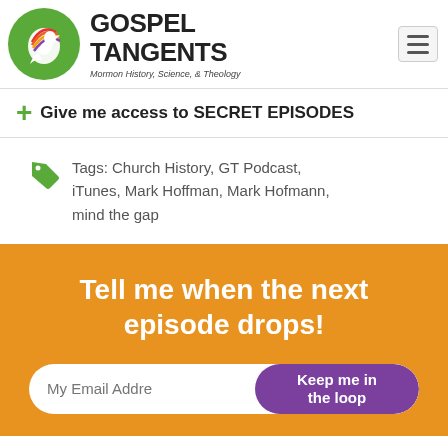[Figure (logo): Gospel Tangents logo: green circle with white bird/dove silhouette, bold text GOSPEL TANGENTS, tagline Mormon History, Science, & Theology]
+ Give me access to SECRET EPISODES
Tags: Church History, GT Podcast, iTunes, Mark Hoffman, Mark Hofmann, mind the gap
Tell me when the next episode drops!
My Email Addre   Keep me in the loop